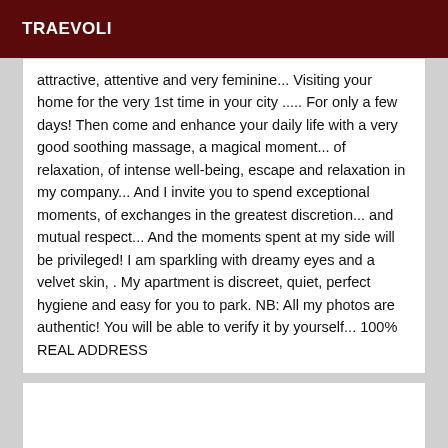TRAEVOLI
attractive, attentive and very feminine... Visiting your home for the very 1st time in your city ..... For only a few days! Then come and enhance your daily life with a very good soothing massage, a magical moment... of relaxation, of intense well-being, escape and relaxation in my company... And I invite you to spend exceptional moments, of exchanges in the greatest discretion... and mutual respect... And the moments spent at my side will be privileged! I am sparkling with dreamy eyes and a velvet skin, . My apartment is discreet, quiet, perfect hygiene and easy for you to park. NB: All my photos are authentic! You will be able to verify it by yourself... 100% REAL ADDRESS